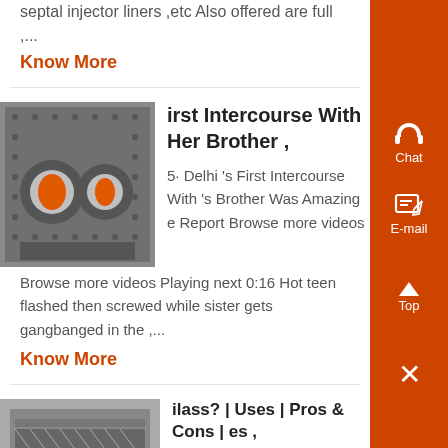septal injector liners ,etc Also offered are full ,...
Know More
[Figure (photo): Industrial machine, likely a crusher or mill, with large circular components glowing orange/red inside a metal housing]
irst Intercourse With Her Brother ,
5· Delhi 's First Intercourse With 's Brother Was Amazing e Report Browse more videos Browse more videos Playing next 0:16 Hot teen flashed then screwed while sister gets gangbanged in the ,...
Know More
[Figure (photo): Industrial conveyor or screening machine with metal structure]
ilass? | Uses | Pros & Cons | es ,
0· Crushed glass is mixed with
Chat
E-mail
Top
×